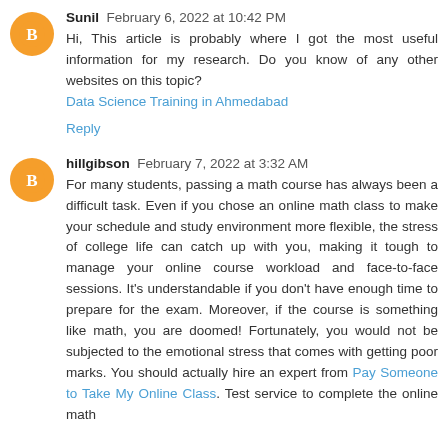Sunil  February 6, 2022 at 10:42 PM
Hi, This article is probably where I got the most useful information for my research. Do you know of any other websites on this topic?
Data Science Training in Ahmedabad
Reply
hillgibson  February 7, 2022 at 3:32 AM
For many students, passing a math course has always been a difficult task. Even if you chose an online math class to make your schedule and study environment more flexible, the stress of college life can catch up with you, making it tough to manage your online course workload and face-to-face sessions. It's understandable if you don't have enough time to prepare for the exam. Moreover, if the course is something like math, you are doomed! Fortunately, you would not be subjected to the emotional stress that comes with getting poor marks. You should actually hire an expert from Pay Someone to Take My Online Class. Test service to complete the online math